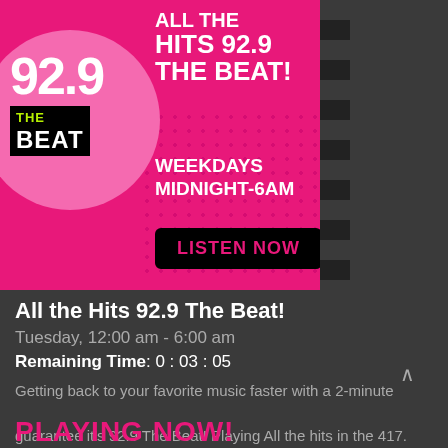[Figure (illustration): Pink and hot pink radio station banner for 92.9 The Beat with logo circle on left, station name 'ALL THE HITS 92.9 THE BEAT!' in bold white text, 'WEEKDAYS MIDNIGHT-6AM' schedule, and a black 'LISTEN NOW' button. Right edge has a dark dashed strip.]
All the Hits 92.9 The Beat!
Tuesday, 12:00 am - 6:00 am
Remaining Time:  0 : 03 : 05
Getting back to your favorite music faster with a 2-minute guarantee it's 92.9 The Beat! Playing All the hits in the 417.
PLAYING NOW!